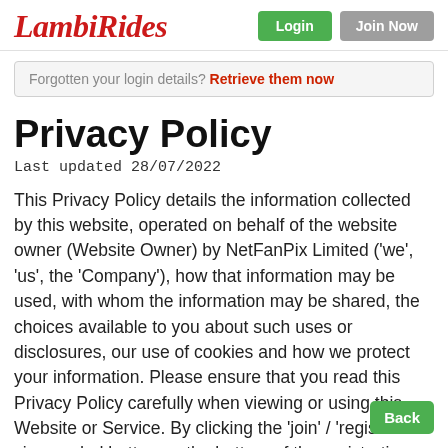LambiRides | Login | Join Now
Forgotten your login details? Retrieve them now
Privacy Policy
Last updated 28/07/2022
This Privacy Policy details the information collected by this website, operated on behalf of the website owner (Website Owner) by NetFanPix Limited ('we', 'us', the 'Company'), how that information may be used, with whom the information may be shared, the choices available to you about such uses or disclosures, our use of cookies and how we protect your information. Please ensure that you read this Privacy Policy carefully when viewing or using this Website or Service. By clicking the 'join' / 'register' or similarly worded button on the bottom of the registration